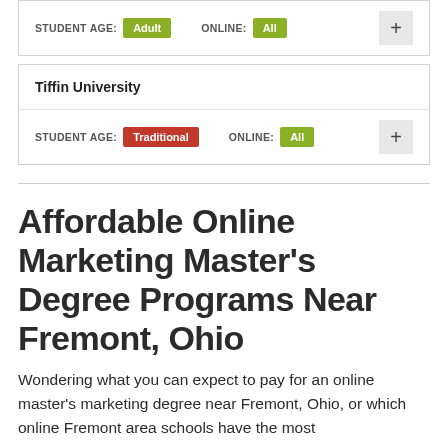STUDENT AGE: Adult   ONLINE: All
Tiffin University
STUDENT AGE: Traditional   ONLINE: All
Affordable Online Marketing Master's Degree Programs Near Fremont, Ohio
Wondering what you can expect to pay for an online master's marketing degree near Fremont, Ohio, or which online Fremont area schools have the most